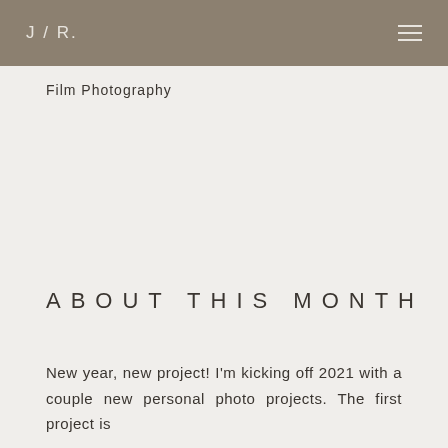J / R.
Film Photography
ABOUT THIS MONTH
New year, new project! I'm kicking off 2021 with a couple new personal photo projects. The first project is